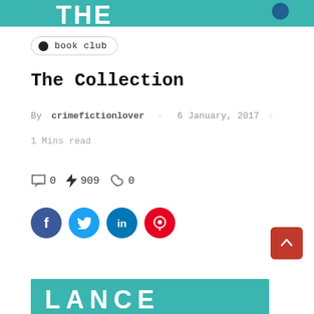[Figure (photo): Top portion of a book cover with teal/turquoise background, partially visible large white text]
book club
The Collection
By crimefictionlover  ○  6 January, 2017  ○
1 Mins read
💬 0   ⚡ 909   ♡ 0
[Figure (illustration): Social sharing buttons: Facebook (dark blue), Twitter (light blue), LinkedIn (blue), Pinterest (red)]
[Figure (other): Red back-to-top button with upward caret arrow]
[Figure (photo): Bottom portion of another book cover with teal background and partially visible large white letters LANCE]